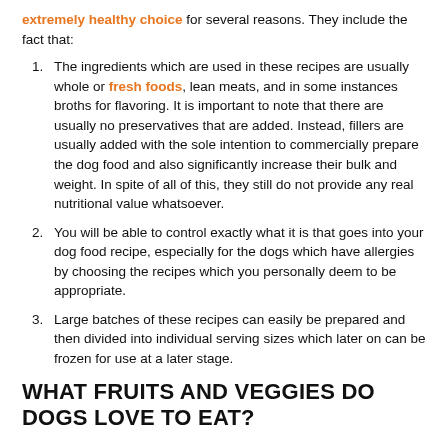extremely healthy choice for several reasons. They include the fact that:
The ingredients which are used in these recipes are usually whole or fresh foods, lean meats, and in some instances broths for flavoring. It is important to note that there are usually no preservatives that are added. Instead, fillers are usually added with the sole intention to commercially prepare the dog food and also significantly increase their bulk and weight. In spite of all of this, they still do not provide any real nutritional value whatsoever.
You will be able to control exactly what it is that goes into your dog food recipe, especially for the dogs which have allergies by choosing the recipes which you personally deem to be appropriate.
Large batches of these recipes can easily be prepared and then divided into individual serving sizes which later on can be frozen for use at a later stage.
WHAT FRUITS AND VEGGIES DO DOGS LOVE TO EAT?